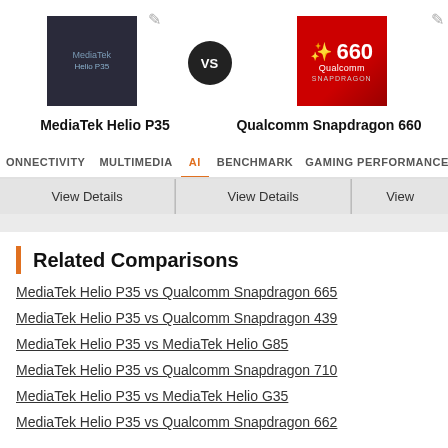[Figure (screenshot): Chip comparison header: MediaTek Helio P35 vs Qualcomm Snapdragon 660 with product images and VS badge]
MediaTek Helio P35
Qualcomm Snapdragon 660
[Figure (screenshot): Tab navigation: CONNECTIVITY | MULTIMEDIA | AI (active) | BENCHMARK | GAMING PERFORMANCE]
View Details | View Details | View
Related Comparisons
MediaTek Helio P35 vs Qualcomm Snapdragon 665
MediaTek Helio P35 vs Qualcomm Snapdragon 439
MediaTek Helio P35 vs MediaTek Helio G85
MediaTek Helio P35 vs Qualcomm Snapdragon 710
MediaTek Helio P35 vs MediaTek Helio G35
MediaTek Helio P35 vs Qualcomm Snapdragon 662